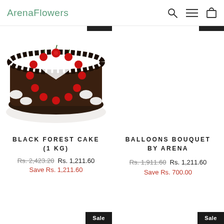ArenaFlowers
[Figure (photo): Black forest cake with cherries and whipped cream on a white plate]
BLACK FOREST CAKE (1 KG)
Rs. 2,423.20  Rs. 1,211.60
Save Rs. 1,211.60
BALLOONS BOUQUET BY ARENA
Rs. 1,911.60  Rs. 1,211.60
Save Rs. 700.00